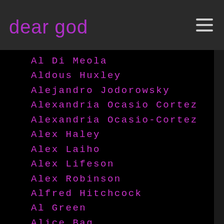dear god
Al Di Meola
Aldous Huxley
Alejandro Jodorowsky
Alexandria Ocasio Cortez
Alexandria Ocasio-Cortez
Alex Haley
Alex Laiho
Alex Lifeson
Alex Robinson
Alfred Hitchcock
Al Green
Alice Bag
Alice Cooper
Alice Glass
Alice In Chains
Ali Shaheed Muhammad
Alkaline Trio